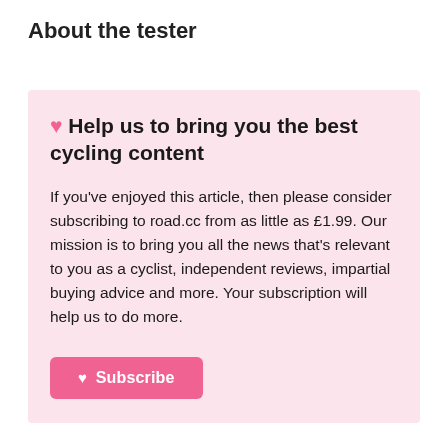About the tester
♥ Help us to bring you the best cycling content
If you've enjoyed this article, then please consider subscribing to road.cc from as little as £1.99. Our mission is to bring you all the news that's relevant to you as a cyclist, independent reviews, impartial buying advice and more. Your subscription will help us to do more.
♥ Subscribe